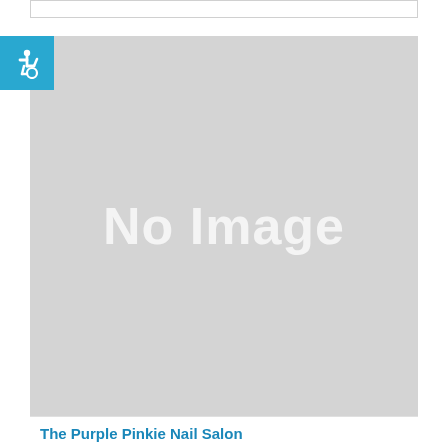[Figure (other): Gray placeholder image with 'No Image' text and a blue accessibility (wheelchair) icon badge in the top-left corner]
The Purple Pinkie Nail Salon